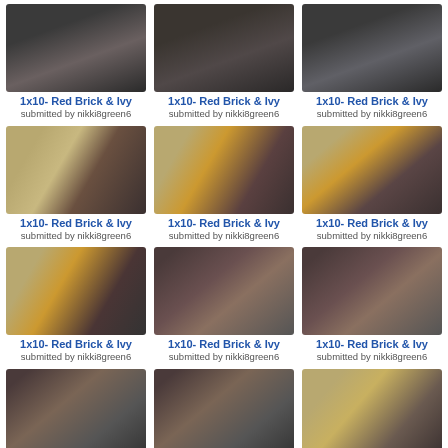[Figure (photo): Grid of TV show screenshots - 1x10 Red Brick & Ivy episode]
1x10- Red Brick & Ivy
submitted by nikki8green6
1x10- Red Brick & Ivy
submitted by nikki8green6
1x10- Red Brick & Ivy
submitted by nikki8green6
1x10- Red Brick & Ivy
submitted by nikki8green6
1x10- Red Brick & Ivy
submitted by nikki8green6
1x10- Red Brick & Ivy
submitted by nikki8green6
1x10- Red Brick & Ivy
submitted by nikki8green6
1x10- Red Brick & Ivy
submitted by nikki8green6
1x10- Red Brick & Ivy
submitted by nikki8green6
1x10- Red Brick & Ivy
submitted by nikki8green6
1x10- Red Brick & Ivy
submitted by nikki8green6
1x10- Red Brick & Ivy
submitted by nikki8green6